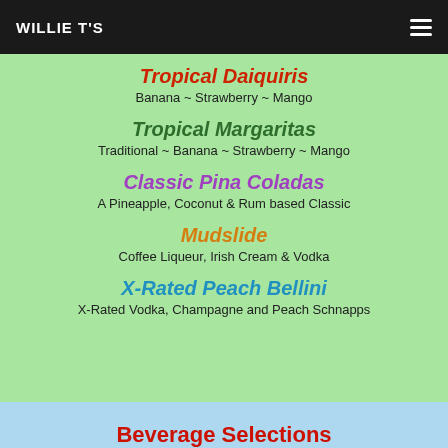WILLIE T'S
Tropical Daiquiris
Banana ~ Strawberry ~ Mango
Tropical Margaritas
Traditional ~ Banana ~ Strawberry ~ Mango
Classic Pina Coladas
A Pineapple, Coconut & Rum based Classic
Mudslide
Coffee Liqueur, Irish Cream & Vodka
X-Rated Peach Bellini
X-Rated Vodka, Champagne and Peach Schnapps
Beverage Selections